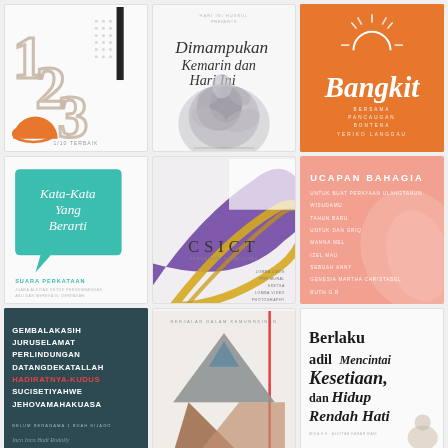[Figure (illustration): Three large stylized numbers 1, 2, 3 in beige/tan with black bar accent and dot pattern, orange semicircle at bottom left]
[Figure (illustration): Script text 'Dimampukan Kemarin dan Hari Ini' over a grey rose/peony flower image]
[Figure (illustration): Orange background with sun/rays icon and italic script 'Bangkit', list of event details below]
[Figure (illustration): Teal speech bubble with italic script 'Kata-Kata Yang Berarti', bottom left shows 'SUARA PERKATAAN' text]
[Figure (illustration): Abstract purple and gold swirl design with 'CSICT' text centered]
[Figure (illustration): Salmon/coral pink background with 'UCAPAN BAHAGIA' heading and list of items]
[Figure (illustration): Dark teal background with uppercase white and red bold words: GEMBALAKASIH JURUSELAMAT PERLINDUNGAN DATANGDEKATALLAH HADIRATNYA-KUDUS SUCISETIYAHWE JEHOVAMAHAKUASA]
[Figure (photo): Photo of person in triangle/geometric composition with 'BERJALAN DALAM KEMUNGKINAN' header and red vertical line accent]
[Figure (illustration): White background with large bold serif text: 'Berlaku adil Mencintai Kesetiaan, dan Hidup Rendah Hati']